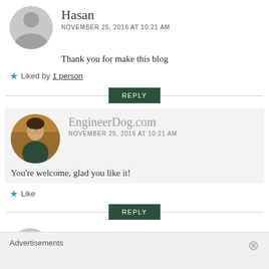Hasan
NOVEMBER 25, 2016 AT 10:21 AM
Thank you for make this blog
Liked by 1 person
REPLY
EngineerDog.com
NOVEMBER 25, 2016 AT 10:21 AM
You're welcome, glad you like it!
Like
REPLY
Crandon David
Advertisements